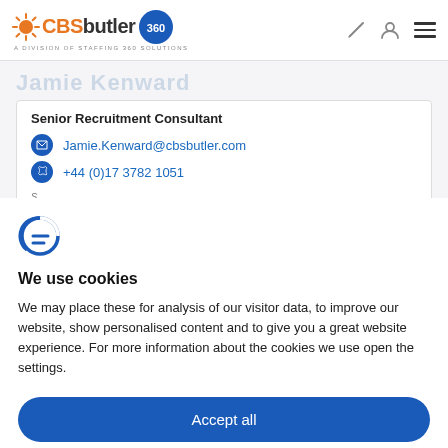[Figure (logo): CBSbutler 360 logo with orange sunburst icon and globe badge, tagline: A DIVISION OF STAFFING 360 SOLUTIONS]
Senior Recruitment Consultant
Jamie.Kenward@cbsbutler.com
+44 (0)17 3782 1051
[Figure (logo): Cookiebot logo icon (stylized F/cookie symbol)]
We use cookies
We may place these for analysis of our visitor data, to improve our website, show personalised content and to give you a great website experience. For more information about the cookies we use open the settings.
Accept all
Deny
Adjust